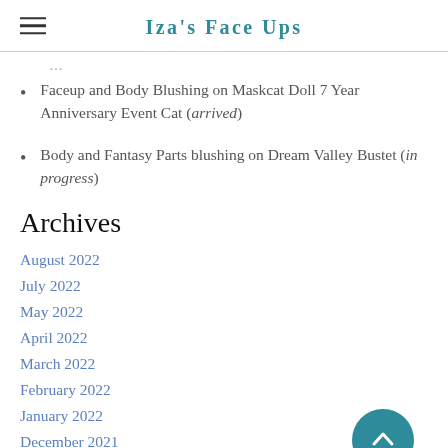Iza's Face Ups
Faceup and Body Blushing on Maskcat Doll 7 Year Anniversary Event Cat (arrived)
Body and Fantasy Parts blushing on Dream Valley Bustet (in progress)
Archives
August 2022
July 2022
May 2022
April 2022
March 2022
February 2022
January 2022
December 2021
October 2021
September 2021